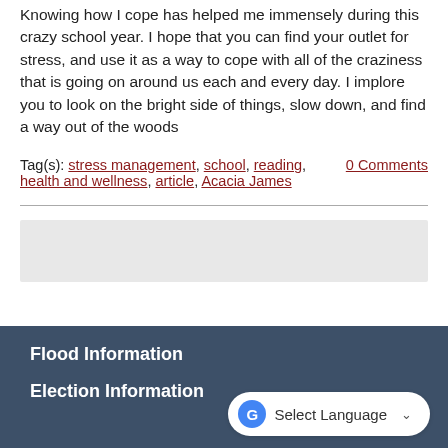Knowing how I cope has helped me immensely during this crazy school year. I hope that you can find your outlet for stress, and use it as a way to cope with all of the craziness that is going on around us each and every day. I implore you to look on the bright side of things, slow down, and find a way out of the woods
Tag(s): stress management, school, reading, health and wellness, article, Acacia James    0 Comments
[Figure (other): Gray placeholder box]
Flood Information
Election Information
Select Language